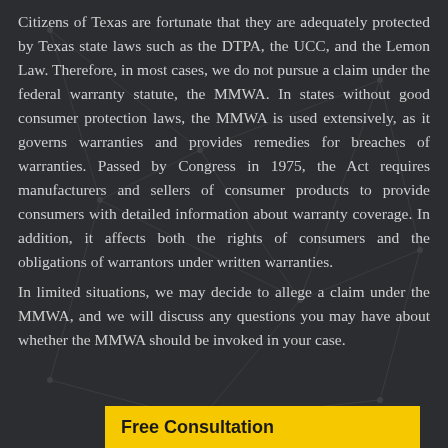Citizens of Texas are fortunate that they are adequately protected by Texas state laws such as the DTPA, the UCC, and the Lemon Law. Therefore, in most cases, we do not pursue a claim under the federal warranty statute, the MMWA. In states without good consumer protection laws, the MMWA is used extensively, as it governs warranties and provides remedies for breaches of warranties. Passed by Congress in 1975, the Act requires manufacturers and sellers of consumer products to provide consumers with detailed information about warranty coverage. In addition, it affects both the rights of consumers and the obligations of warrantors under written warranties.
In limited situations, we may decide to allege a claim under the MMWA, and we will discuss any questions you may have about whether the MMWA should be invoked in your case.
Free Consultation